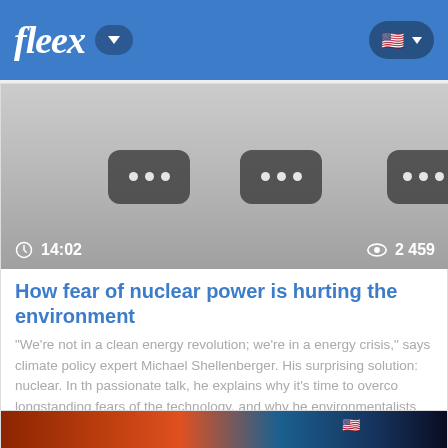fleex
[Figure (screenshot): Video thumbnail showing three dark rounded rectangle buttons with ellipsis dots, time 14:02 and view count 2 459]
How fear of nuclear power is hurting the environment
"We're not in a clean energy revolution; we're in a energy crisis," says climate policy expert Michael Shellenberger. His surprising solution: nuclear. In th passionate talk, he explains why it's time to overco longstanding fears of the technology, and why he environmentalists believe it's past time to embrac a viable and desirable [ . . . ]
[Figure (screenshot): Partial thumbnail of another video with fire/orange imagery on left and blue background on right with US flag icon]